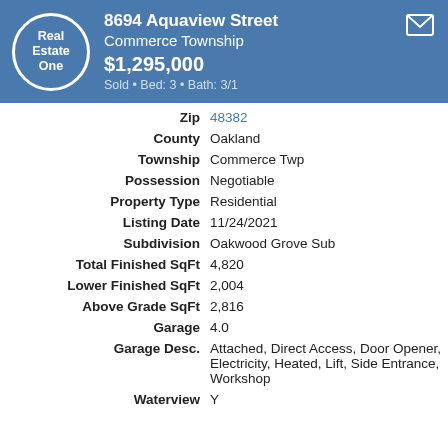8694 Aquaview Street Commerce Township $1,295,000 Sold • Bed: 3 • Bath: 3/1
| Field | Value |
| --- | --- |
| Zip | 48382 |
| County | Oakland |
| Township | Commerce Twp |
| Possession | Negotiable |
| Property Type | Residential |
| Listing Date | 11/24/2021 |
| Subdivision | Oakwood Grove Sub |
| Total Finished SqFt | 4,820 |
| Lower Finished SqFt | 2,004 |
| Above Grade SqFt | 2,816 |
| Garage | 4.0 |
| Garage Desc. | Attached, Direct Access, Door Opener, Electricity, Heated, Lift, Side Entrance, Workshop |
| Waterview | Y |